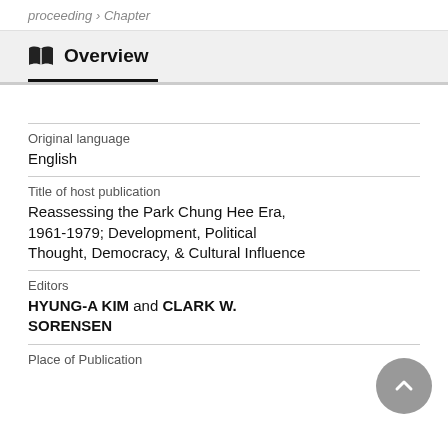proceeding › Chapter
Overview
Original language
English
Title of host publication
Reassessing the Park Chung Hee Era, 1961-1979; Development, Political Thought, Democracy, & Cultural Influence
Editors
HYUNG-A KIM and CLARK W. SORENSEN
Place of Publication